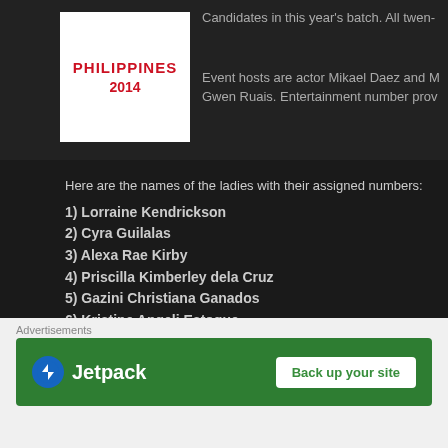[Figure (logo): Philippines 2014 logo in red text on white background]
Candidates in this year's batch. All twen- Event hosts are actor Mikael Daez and M Gwen Ruais. Entertainment number prov
Here are the names of the ladies with their assigned numbers:
1) Lorraine Kendrickson
2) Cyra Guilalas
3) Alexa Rae Kirby
4) Priscilla Kimberley dela Cruz
5) Gazini Christiana Ganados
6) Kristine Angeli Estoque
7) Rachel Louise Peters
8) Rachelle Emmylou Carandang
9) Ranielah Marie Oval
10) Grace Ann Bautista
11) Moriel Olea
12) Christine Balaguer
Advertisements
[Figure (illustration): Jetpack advertisement banner with 'Back up your site' button on green background]